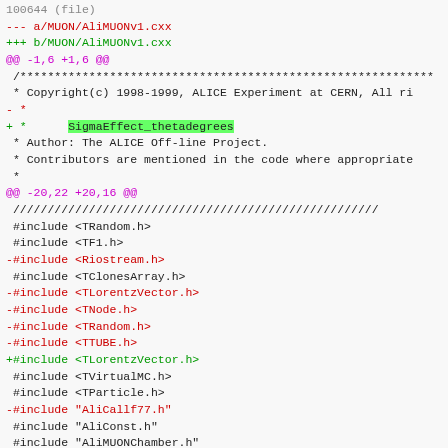Git diff output showing changes to MUON/AliMUONv1.cxx including removal of several includes and addition of SigmaEffect_thetadegrees and TLorentzVector.h